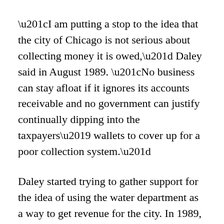“I am putting a stop to the idea that the city of Chicago is not serious about collecting money it is owed,” Daley said in August 1989. “No business can stay afloat if it ignores its accounts receivable and no government can justify continually dipping into the taxpayers’ wallets to cover up for a poor collection system.”
Daley started trying to gather support for the idea of using the water department as a way to get revenue for the city. In 1989, his administration explored legal strategies to collect delinquent water bills, according to internal documents.
Daley launched an aggressive debt collection program, which included going after city